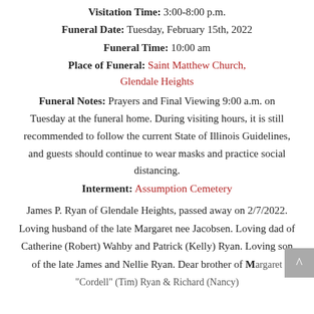Visitation Time: 3:00-8:00 p.m.
Funeral Date: Tuesday, February 15th, 2022
Funeral Time: 10:00 am
Place of Funeral: Saint Matthew Church, Glendale Heights
Funeral Notes: Prayers and Final Viewing 9:00 a.m. on Tuesday at the funeral home. During visiting hours, it is still recommended to follow the current State of Illinois Guidelines, and guests should continue to wear masks and practice social distancing.
Interment: Assumption Cemetery
James P. Ryan of Glendale Heights, passed away on 2/7/2022. Loving husband of the late Margaret nee Jacobsen. Loving dad of Catherine (Robert) Wahby and Patrick (Kelly) Ryan. Loving son of the late James and Nellie Ryan. Dear brother of Margaret "Cordell" (Tim) Ryan & Richard (Nancy)